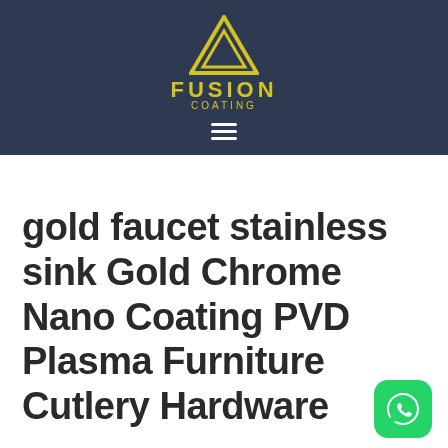[Figure (logo): Fusion Coating logo with yellow triangle geometric mark and text FUSION COATING on dark navy background]
gold faucet stainless sink Gold Chrome Nano Coating PVD Plasma Furniture Cutlery Hardware
[Figure (other): WhatsApp button icon, green rounded square with white phone/chat icon]